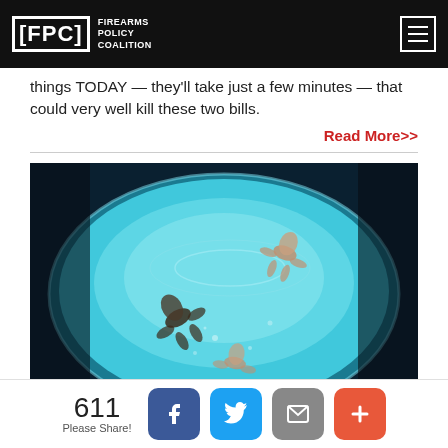FPC Firearms Policy Coalition
things TODAY — they'll take just a few minutes — that could very well kill these two bills.
Read More>>
[Figure (photo): Aerial view of people floating/swimming in a circular illuminated pool with cyan-blue water, viewed from above through a circular frame]
611 Please Share! [Facebook] [Twitter] [Mail] [Plus]